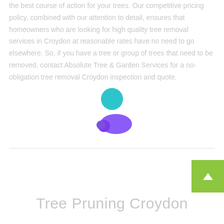the best course of action for your trees. Our competitive pricing policy, combined with our attention to detail, ensures that homeowners who are looking for high quality tree removal services in Croydon at reasonable rates have no need to go elsewhere. So, if you have a tree or group of trees that need to be removed, contact Absolute Tree & Garden Services for a no-obligation tree removal Croydon inspection and quote.
[Figure (logo): Two abstract circular shapes: a teal/cyan circle above and a purple elongated blob/pill shape below, forming a logo mark.]
Tree Pruning Croydon